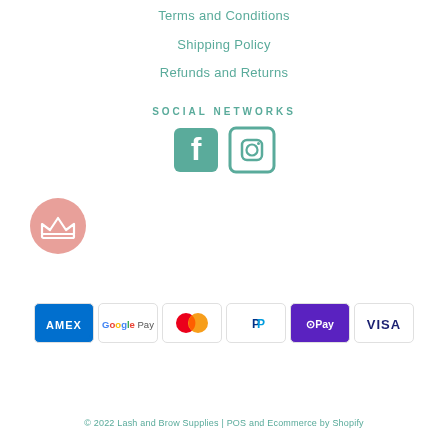Terms and Conditions
Shipping Policy
Refunds and Returns
SOCIAL NETWORKS
[Figure (logo): Facebook and Instagram social media icons in teal]
[Figure (logo): Pink circle with white crown icon]
[Figure (infographic): Payment method logos: AMEX, Google Pay, Mastercard, PayPal, OPay, VISA]
© 2022 Lash and Brow Supplies | POS and Ecommerce by Shopify